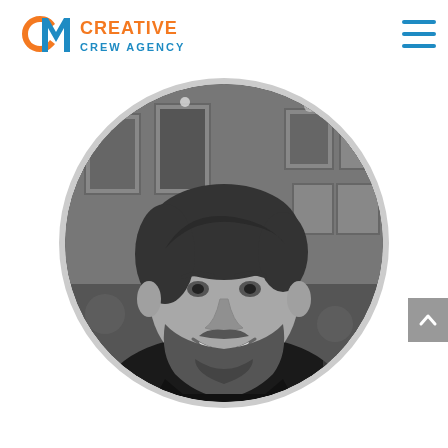[Figure (logo): Creative Crew Agency logo with stylized 'CA' letters in blue and orange, followed by 'CREATIVE CREW AGENCY' text in orange and blue]
[Figure (other): Hamburger menu icon (three horizontal blue lines) in top-right area]
[Figure (photo): Black and white circular portrait photo of a bearded man smiling, wearing a dark shirt, in a restaurant/bar setting with framed pictures on wall in background]
[Figure (other): Gray scroll-to-top button with upward chevron arrow on right edge]